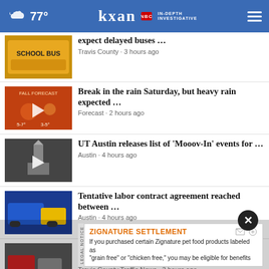77° | KXAN IN-DEPTH INVESTIGATIVE
expect delayed buses ... | Travis County • 3 hours ago
Break in the rain Saturday, but heavy rain expected ... | Forecast • 2 hours ago
UT Austin releases list of 'Mooov-In' events for ... | Austin • 4 hours ago
Tentative labor contract agreement reached between ... | Austin • 4 hours ago
Traffic near Bee Cave Elementary 'really bad,' district ... | Travis County Traffic News • 3 hours ago
ATCEMS: 1 declared dead du...ng
Police identify victim in Tuesday...
ZIGNATURE SETTLEMENT — If you purchased certain Zignature pet food products labeled as "grain free" or "chicken free," you may be eligible for benefits